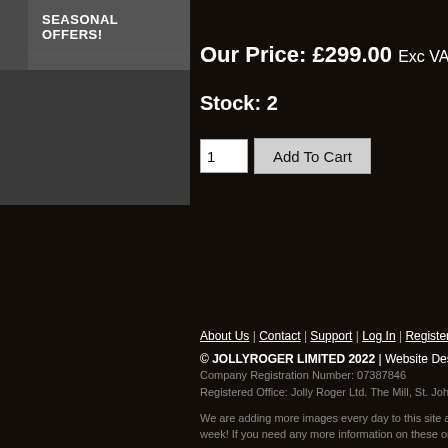SEASONAL OFFERS!
WILD WEST
Our Price: £299.00 Exc VAT
Stock: 2
About Us | Contact | Support | Log In | Register | Ca...
© JOLLYROGER LIMITED 2022 | Website Design & Te...
Company Registration Number: 07387846
Registered Office: Jolly Roger Ltd. The Mill, St. Johns La...
We are adding more images every day to this site and c... week! If you need any more information on these or othe...